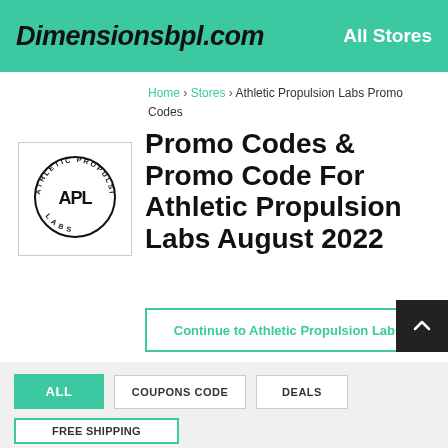Dimensionsbpl.com   All Stores
Home > Stores > Athletic Propulsion Labs Promo Codes
[Figure (logo): APL Athletic Propulsion Labs circular logo with text around the ring and bold APL letters in center]
Promo Codes & Promo Code For Athletic Propulsion Labs August 2022
Continue to Athletic Propulsion Labs
ALL
COUPONS CODE
DEALS
FREE SHIPPING